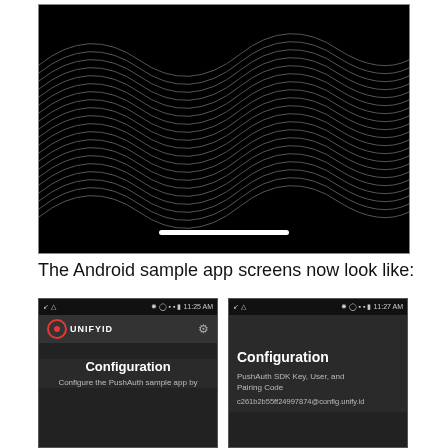[Figure (screenshot): Dark app screen with animated wavy line pattern on black background, with a white progress bar near the bottom]
The Android sample app screens now look like:
[Figure (screenshot): Two Android phone screenshots side by side. Left: UnifyID app showing Configuration screen with 'Configure the PushAuth sample app by' text. Right: Configuration screen showing 'PushAuth SDK Key, User, and Pairing Code' and 'c261b2b55ff24997874@config.unify.id']